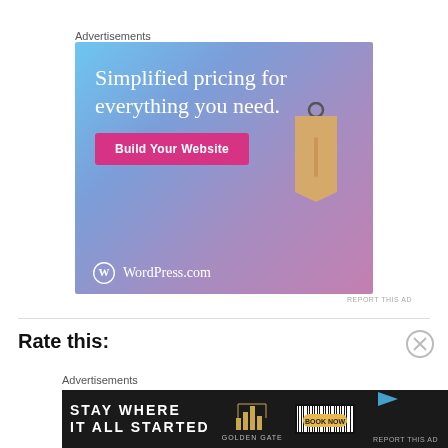Advertisements
[Figure (illustration): WordPress.com advertisement banner with gradient blue-purple background, large white serif text 'Simplified pricing for everything you need.', a pink 'Build Your Website' button, a tan price tag graphic, and WordPress.com logo at bottom left.]
REPORT THIS AD
Rate this:
Advertisements
[Figure (illustration): Golden Gate hotel advertisement on dark background with text 'STAY WHERE IT ALL STARTED', Golden Gate logo with bar graph icon, and 'BOOK NOW' button. Barcode pattern on right side.]